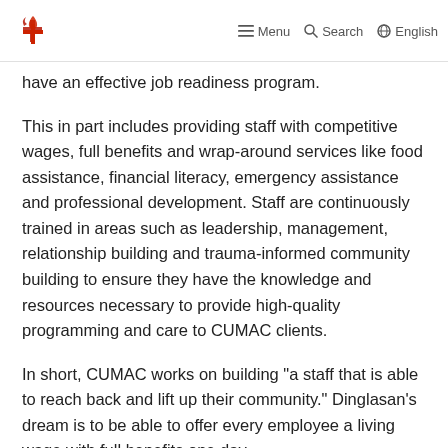Menu  Search  English
have an effective job readiness program.
This in part includes providing staff with competitive wages, full benefits and wrap-around services like food assistance, financial literacy, emergency assistance and professional development. Staff are continuously trained in areas such as leadership, management, relationship building and trauma-informed community building to ensure they have the knowledge and resources necessary to provide high-quality programming and care to CUMAC clients.
In short, CUMAC works on building “a staff that is able to reach back and lift up their community.” Dinglasan’s dream is to be able to offer every employee a living wage with full benefits one day.
The same care and respect are given to the community. Within